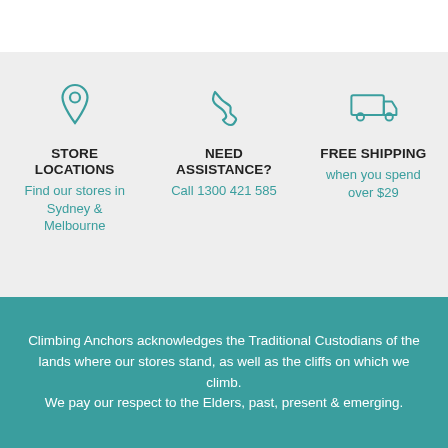[Figure (infographic): Three icons in teal outline style: a location pin, a phone handset, and a delivery truck]
STORE LOCATIONS
Find our stores in Sydney & Melbourne
NEED ASSISTANCE?
Call 1300 421 585
FREE SHIPPING
when you spend over $29
Climbing Anchors acknowledges the Traditional Custodians of the lands where our stores stand, as well as the cliffs on which we climb. We pay our respect to the Elders, past, present & emerging.